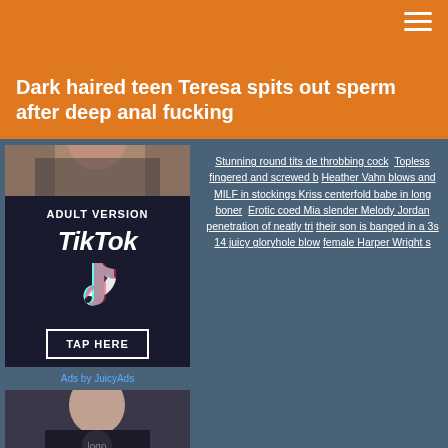Dark haired teen Teresa spits out sperm after deep anal fucking
[Figure (photo): A partial image of a person's upper body with dark hair, cropped at the top]
[Figure (screenshot): Adult TikTok advertisement banner with black background reading 'ADULT VERSION TikTok TAP HERE' with TikTok logo and musical note icon]
Ads by JuicyAds
Stunning round tits de throbbing cock  Topless fingered and screwed b Heather Vahn blows and MILF in stockings Kriss centerfold babe in long boner  Erotic coed Mia slender Melody Jordan penetration of neatly tri their son is banged in a 3s 14 juicy gloryhole blow female Harper Wright s
[Figure (photo): A person seated, wearing a dark shirt with a logo, lower portion visible from the waist up]